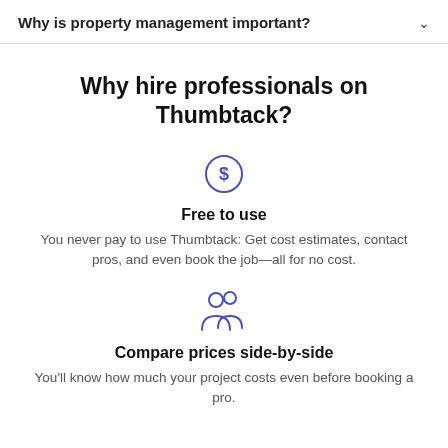Why is property management important?
Why hire professionals on Thumbtack?
[Figure (illustration): Dollar sign icon inside a circle, drawn in blue/indigo outline style]
Free to use
You never pay to use Thumbtack: Get cost estimates, contact pros, and even book the job—all for no cost.
[Figure (illustration): Two people/users icon drawn in blue/indigo outline style]
Compare prices side-by-side
You'll know how much your project costs even before booking a pro.